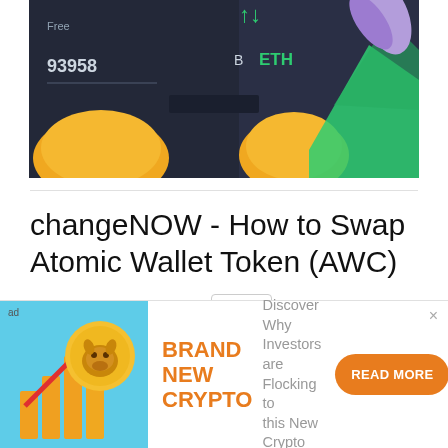[Figure (screenshot): Hero image showing a dark-themed cryptocurrency exchange interface with ETH label, price 93958, gold coin, green arrow chart, and purple decorative element]
changeNOW - How to Swap Atomic Wallet Token (AWC)
2 minute read    xqanxxx    $7.45
changeNow.io is widely known for its instant, account-free, no-limit exchange service, however, there are other useful services that changeNOW provides for its clients. Examples include the NOW Nodes, NOWPayments, Token Swap, etc. In this report, we...
[Figure (illustration): Ad banner: crypto shiba inu coin with red upward arrow and orange bar chart on teal background. Text: BRAND NEW CRYPTO - Discover Why Investors are Flocking to this New Crypto - READ MORE button]